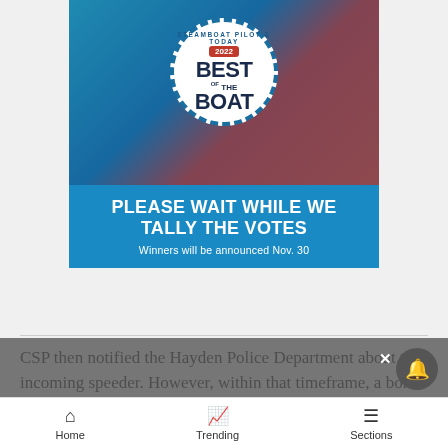[Figure (illustration): Steamboat Pilot & Today 2022 Best of the Boat advertisement banner. Blue and red diamond photo collage with circular badge reading STEAMBOAT PILOT & TODAY 2022 BEST OF THE BOAT. Blue bottom section with text PLEASE WAIT WHILE WE TALLY THE VOTES and subtext Winners will be announced Nov. 30]
CSP then notified the Hayden Police Department about the incoming speeder. However, within that timeframe, a bomb threat was made at the local Kum and Go convenience store.
Home   Trending   Sections